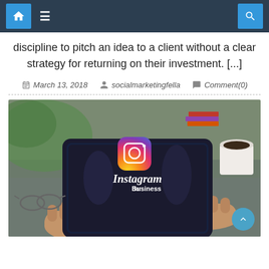Navigation bar with home, menu, and search icons
discipline to pitch an idea to a client without a clear strategy for returning on their investment. [...]
March 13, 2018   socialmarketingfella   Comment(0)
[Figure (photo): Person holding a tablet displaying Instagram for Business logo on a dark screen, on a desk with glasses, books, and coffee cup in background]